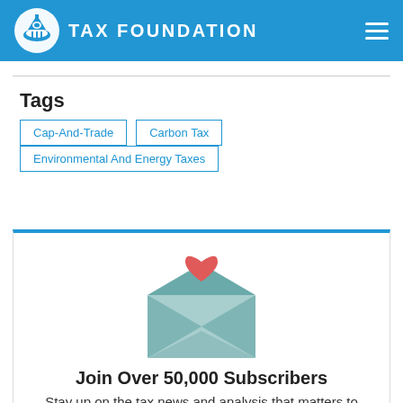TAX FOUNDATION
Tags
Cap-And-Trade
Carbon Tax
Environmental And Energy Taxes
[Figure (illustration): Open envelope with a red heart icon above it, representing a newsletter subscription signup graphic]
Join Over 50,000 Subscribers
Stay up on the tax news and analysis that matters to